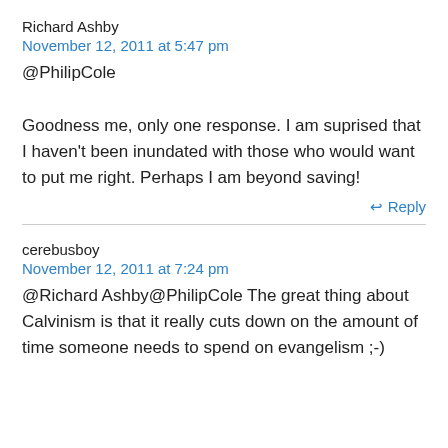Richard Ashby
November 12, 2011 at 5:47 pm
@PhilipCole

Goodness me, only one response. I am suprised that I haven't been inundated with those who would want to put me right. Perhaps I am beyond saving!
↩ Reply
cerebusboy
November 12, 2011 at 7:24 pm
@Richard Ashby@PhilipCole The great thing about Calvinism is that it really cuts down on the amount of time someone needs to spend on evangelism ;-)